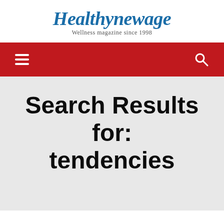Healthynewage
Wellness magazine since 1998
[Figure (screenshot): Red navigation bar with hamburger menu icon on left and search icon on right]
Search Results for: tendencies